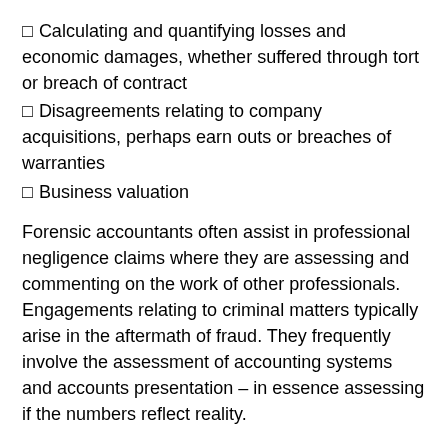Calculating and quantifying losses and economic damages, whether suffered through tort or breach of contract
Disagreements relating to company acquisitions, perhaps earn outs or breaches of warranties
Business valuation
Forensic accountants often assist in professional negligence claims where they are assessing and commenting on the work of other professionals. Engagements relating to criminal matters typically arise in the aftermath of fraud. They frequently involve the assessment of accounting systems and accounts presentation – in essence assessing if the numbers reflect reality.
Forensic accountants may be involved in recovering